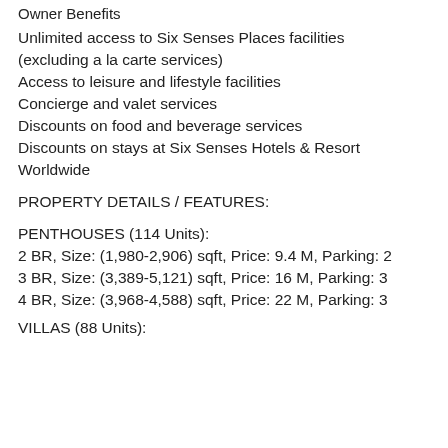Owner Benefits
Unlimited access to Six Senses Places facilities (excluding a la carte services)
Access to leisure and lifestyle facilities
Concierge and valet services
Discounts on food and beverage services
Discounts on stays at Six Senses Hotels & Resort Worldwide
PROPERTY DETAILS / FEATURES:
PENTHOUSES (114 Units):
2 BR, Size: (1,980-2,906) sqft, Price: 9.4 M, Parking: 2
3 BR, Size: (3,389-5,121) sqft, Price: 16 M, Parking: 3
4 BR, Size: (3,968-4,588) sqft, Price: 22 M, Parking: 3
VILLAS (88 Units):